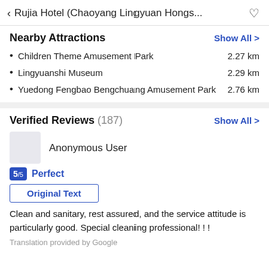< Rujia Hotel (Chaoyang Lingyuan Hongs... ♡
Nearby Attractions
Show All >
Children Theme Amusement Park  2.27 km
Lingyuanshi Museum  2.29 km
Yuedong Fengbao Bengchuang Amusement Park  2.76 km
Verified Reviews (187)
Show All >
Anonymous User
5/5 Perfect
Original Text
Clean and sanitary, rest assured, and the service attitude is particularly good. Special cleaning professional! ! !
Translation provided by Google